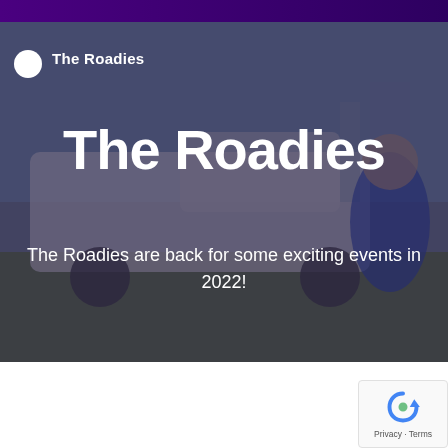The Roadies
The Roadies
The Roadies are back for some exciting events in 2022!
[Figure (photo): Photo of two people posing in front of a branded white pickup truck with '1079' logo on a grassy area, overlaid with dark purple tint]
Who are the
[Figure (other): reCAPTCHA badge showing rotating arrow icon with Privacy and Terms links]